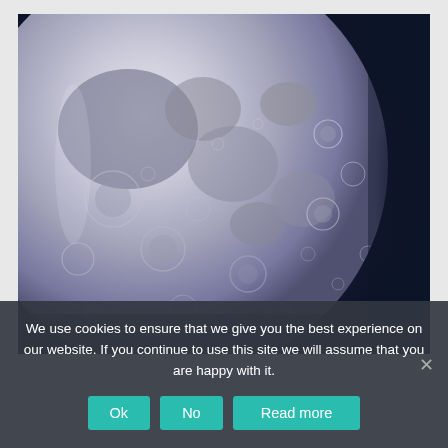[Figure (photo): Close-up photograph of the Moon against a dark blue-black sky, showing approximately three-quarters of the lunar surface illuminated with visible craters and mare regions.]
We use cookies to ensure that we give you the best experience on our website. If you continue to use this site we will assume that you are happy with it.